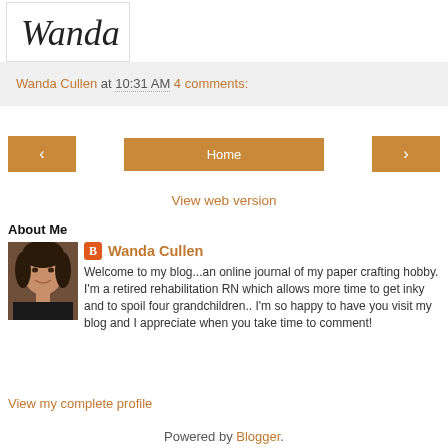[Figure (illustration): Cursive signature reading 'Wanda' in black ink on white background]
Wanda Cullen at 10:31 AM    4 comments:
< (previous button)   Home   > (next button)
View web version
About Me
[Figure (photo): Profile photo of Wanda Cullen, a woman with dark hair smiling, wearing a dark top]
Wanda Cullen
Welcome to my blog...an online journal of my paper crafting hobby. I'm a retired rehabilitation RN which allows more time to get inky and to spoil four grandchildren.. I'm so happy to have you visit my blog and I appreciate when you take time to comment!
View my complete profile
Powered by Blogger.